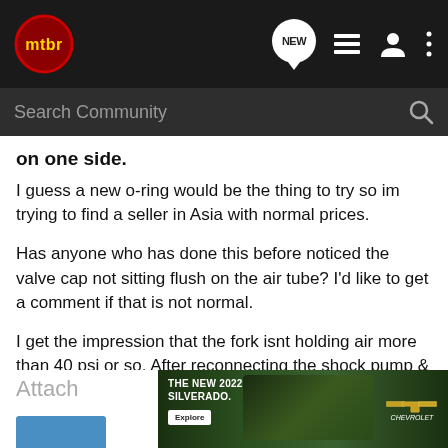mtbr forum navigation bar with logo, NEW button, list icon, user icon, menu icon
Search Community
on one side.
I guess a new o-ring would be the thing to try so im trying to find a seller in Asia with normal prices.
Has anyone who has done this before noticed the valve cap not sitting flush on the air tube? I'd like to get a comment if that is not normal.
I get the impression that the fork isnt holding air more than 40 psi or so. After reconnecting the shock pump & pumping once it shows about 40psi. But some time these things are temperamental & i cant remember how it was previously.
Attach
[Figure (screenshot): Chevrolet Silverado 2022 advertisement banner showing truck in outdoor setting with text THE NEW 2022 SILVERADO. and Explore button and Chevrolet logo]